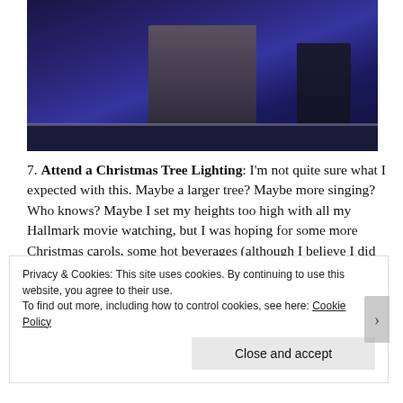[Figure (photo): Night-time photo showing people's legs/lower bodies standing outdoors on dark pavement with a blue-purple toned background, likely at a Christmas tree lighting event.]
7. Attend a Christmas Tree Lighting: I'm not quite sure what I expected with this. Maybe a larger tree? Maybe more singing? Who knows? Maybe I set my heights too high with all my Hallmark movie watching, but I was hoping for some more Christmas carols, some hot beverages (although I believe I did see some people with hot cocoa), and a dang
Privacy & Cookies: This site uses cookies. By continuing to use this website, you agree to their use.
To find out more, including how to control cookies, see here: Cookie Policy
Close and accept